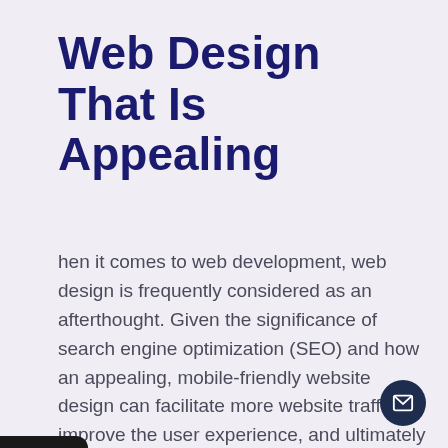Web Design That Is Appealing
[Figure (other): Mobile phone sidebar UI widget with dark background, purple 'Contact Us' label section, and back arrow, overlaid on the left side of the page]
When it comes to web development, web design is frequently considered as an afterthought. Given the significance of search engine optimization (SEO) and how an appealing, mobile-friendly website design can facilitate more website traffic, improve the user experience, and ultimately assist boost your site's search engine ranks, this is surprising.